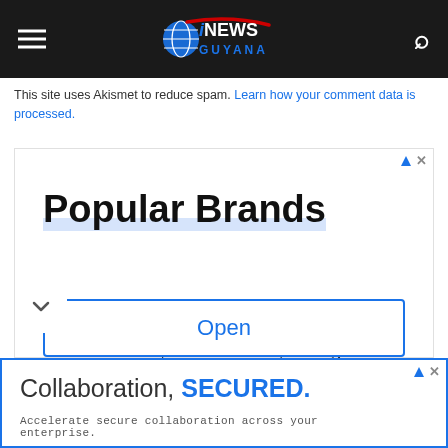iNEWS GUYANA
This site uses Akismet to reduce spam. Learn how your comment data is processed.
[Figure (screenshot): Advertisement banner for Popular Brands featuring designer baby clothes from Kissy Kissy, Kickee Pants, Little Giraffe, Patagonia by Atterdag Kids with an Open button]
[Figure (screenshot): Advertisement banner: Collaboration, SECURED. Accelerate secure collaboration across your enterprise.]